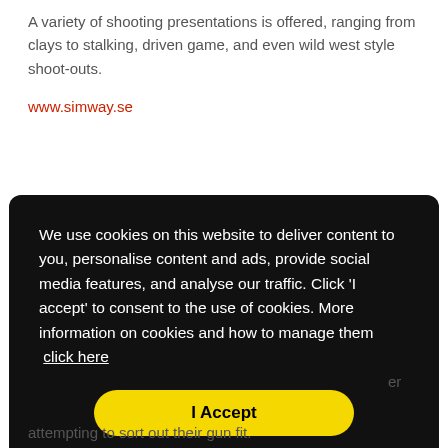A variety of shooting presentations is offered, ranging from clays to stalking, driven game, and even wild west style shoot-outs.
www.simway.se
We use cookies on this website to deliver content to you, personalise content and ads, provide social media features, and analyse our traffic. Click 'I accept' to consent to the use of cookies. More information on cookies and how to manage them click here
I Accept
attempting to sort out their gun fit.